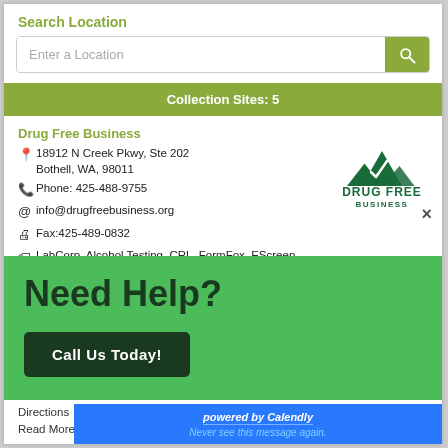Search Location
Enter a Location
Collection Sites: 5
Drug Free Business
18912 N Creek Pkwy, Ste 202 Bothell, WA, 98011
Phone: 425-488-9755
info@drugfreebusiness.org
Fax:425-489-0832
LabCorp, Alcohol Testing, CRL, FormFox, EScreen, Quest Preferred, QPassport
[Figure (logo): Drug Free Business logo with mountain graphic]
Need Help?
Call Us Today!
Directions
Read More
powered by Calendly
Never see this message again.